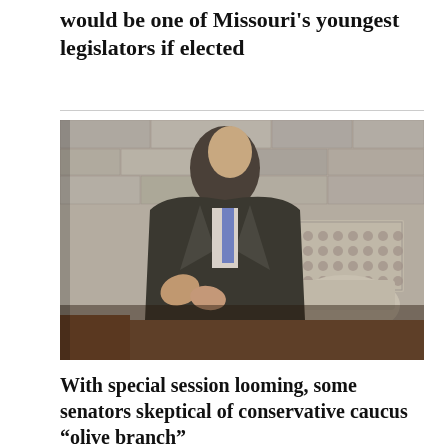would be one of Missouri's youngest legislators if elected
[Figure (photo): A man in a gray suit and blue-purple tie stands speaking in what appears to be a legislative chamber, gesturing with his hands, with stone walls and chairs visible in the background.]
With special session looming, some senators skeptical of conservative caucus “olive branch”